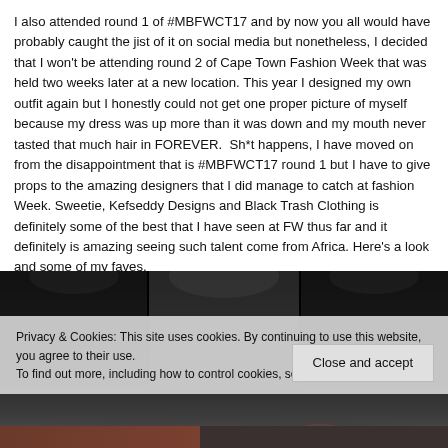I also attended round 1 of #MBFWCT17 and by now you all would have probably caught the jist of it on social media but nonetheless, I decided that I won't be attending round 2 of Cape Town Fashion Week that was held two weeks later at a new location. This year I designed my own outfit again but I honestly could not get one proper picture of myself because my dress was up more than it was down and my mouth never tasted that much hair in FOREVER.  Sh*t happens, I have moved on from the disappointment that is #MBFWCT17 round 1 but I have to give props to the amazing designers that I did manage to catch at fashion Week. Sweetie, Kefseddy Designs and Black Trash Clothing is definitely some of the best that I have seen at FW thus far and it definitely is amazing seeing such talent come from Africa. Here's a look and some of my faves.
[Figure (photo): Dark runway/fashion show photo showing a stage with dark background and stage lighting panels]
Privacy & Cookies: This site uses cookies. By continuing to use this website, you agree to their use.
To find out more, including how to control cookies, see here: Cookie Policy
Close and accept